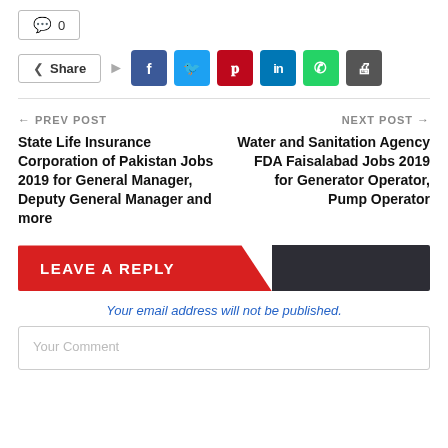💬 0
Share (social media buttons: Facebook, Twitter, Pinterest, LinkedIn, WhatsApp, Print)
← PREV POST
State Life Insurance Corporation of Pakistan Jobs 2019 for General Manager, Deputy General Manager and more
NEXT POST →
Water and Sanitation Agency FDA Faisalabad Jobs 2019 for Generator Operator, Pump Operator
LEAVE A REPLY
Your email address will not be published.
Your Comment